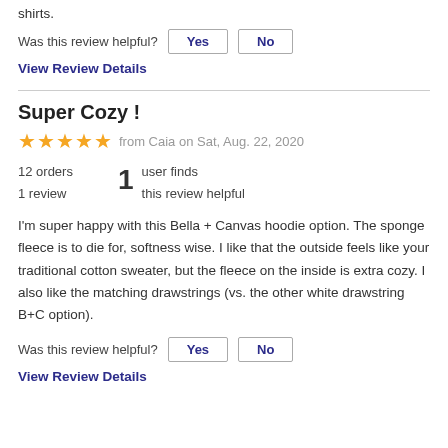shirts.
Was this review helpful?
View Review Details
Super Cozy !
from Caia on Sat, Aug. 22, 2020
12 orders
1 review
1 user finds this review helpful
I'm super happy with this Bella + Canvas hoodie option. The sponge fleece is to die for, softness wise. I like that the outside feels like your traditional cotton sweater, but the fleece on the inside is extra cozy. I also like the matching drawstrings (vs. the other white drawstring B+C option).
Was this review helpful?
View Review Details